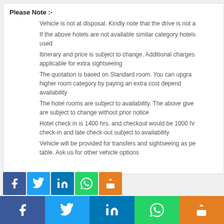Please Note :-
Vehicle is not at disposal. Kindly note that the drive is not a
If the above hotels are not available similar category hotels used
Itinerary and price is subject to change. Additional charges applicable for extra sightseeing
The quotation is based on Standard room. You can upgra higher room category by paying an extra cost depend availability
The hotel rooms are subject to availability. The above give are subject to change without prior notice
Hotel check in is 1400 hrs. and checkout would be 1000 hr check-in and late check-out subject to availability
Vehicle will be provided for transfers and sightseeing as pe table. Ask us for other vehicle options
[Figure (infographic): Social media share buttons: Facebook, Twitter, LinkedIn, WhatsApp, Share — small row]
[Figure (infographic): Social media share buttons: Facebook, Twitter, LinkedIn, WhatsApp, Share — large bottom bar]